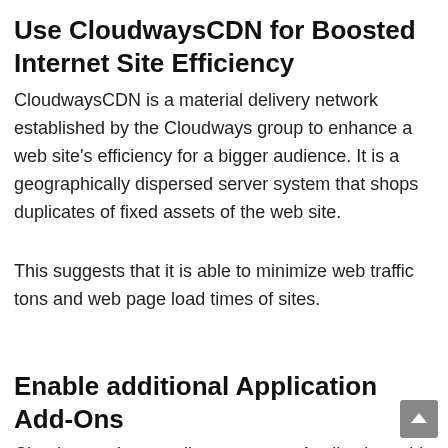Use CloudwaysCDN for Boosted Internet Site Efficiency
CloudwaysCDN is a material delivery network established by the Cloudways group to enhance a web site's efficiency for a bigger audience. It is a geographically dispersed server system that shops duplicates of fixed assets of the web site.
This suggests that it is able to minimize web traffic tons and web page load times of sites.
Enable additional Application Add-Ons
Cloudways also supplies numerous Application add-ons for